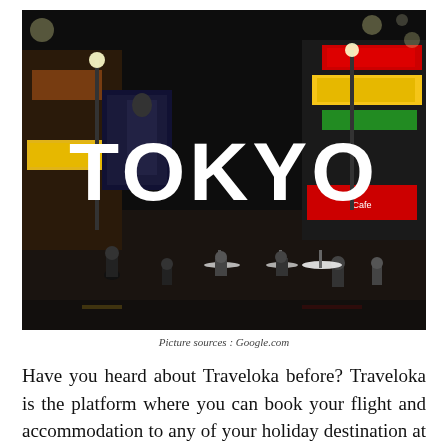[Figure (photo): Night street scene of Tokyo with crowded sidewalks, neon signs, billboards, and the large word TOKYO overlaid in white bold text]
Picture sources : Google.com
Have you heard about Traveloka before? Traveloka is the platform where you can book your flight and accommodation to any of your holiday destination at the same time.^ You can even select both according to your